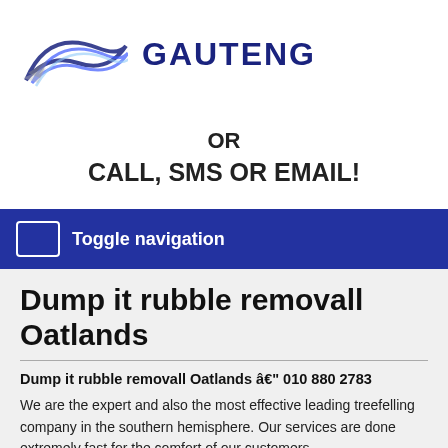[Figure (logo): Gauteng logo with swoosh graphic and bold text GAUTENG]
OR
CALL, SMS OR EMAIL!
Toggle navigation
Dump it rubble removall Oatlands
Dump it rubble removall Oatlands â€" 010 880 2783
We are the expert and also the most effective leading treefelling company in the southern hemisphere. Our services are done extremely fast for the comfort of our customers.
Do not give yourself the hassle of risking the use of terrible contractors; our call centre agents will happily link you with a reputable treefelling contractor. All the companies in our database are professional and will